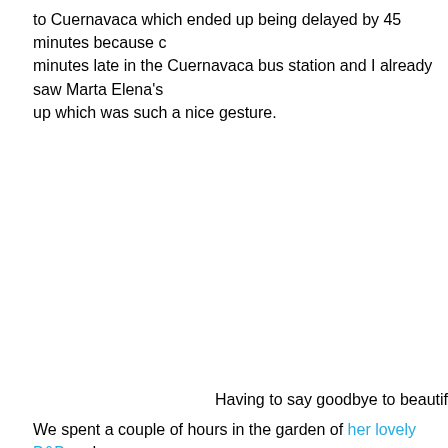to Cuernavaca which ended up being delayed by 45 minutes because c… minutes late in the Cuernavaca bus station and I already saw Marta Elena's… up which was such a nice gesture.
Having to say goodbye to beautif…
We spent a couple of hours in the garden of her lovely B&B and we caug… was very interested in hearing about my experiences in Taxco and I think…